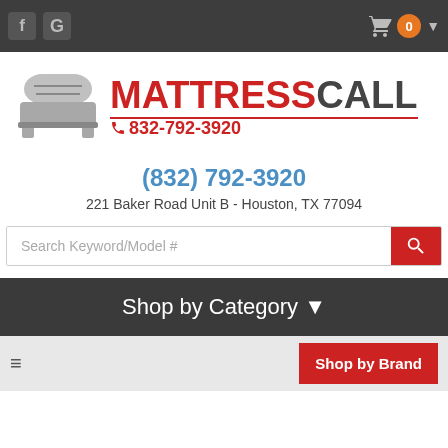Navigation bar with Facebook, Google icons and cart with 0 items
[Figure (logo): Mattress Call logo with stylized bed icon and red MATTRESSCALL text with phone 832-792-3920]
(832) 792-3920
221 Baker Road Unit B - Houston, TX 77094
Search Keyword/Model #
Shop by Category
Shop by Brand